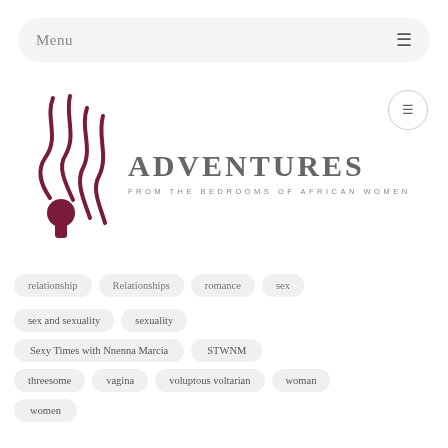Menu
[Figure (logo): Adventures from the bedrooms of African Women logo with stylized keyhole and smoke/curves graphic in dark red/maroon]
relationship
Relationships
romance
sex
sex and sexuality
sexuality
Sexy Times with Nnenna Marcia
STWNM
threesome
vagina
voluptous voltarian
woman
women